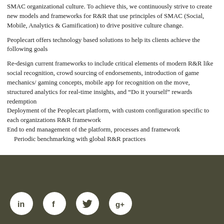SMAC organizational culture. To achieve this, we continuously strive to create new models and frameworks for R&R that use principles of SMAC (Social, Mobile, Analytics & Gamification) to drive positive culture change.
Peoplecart offers technology based solutions to help its clients achieve the following goals
Re-design current frameworks to include critical elements of modern R&R like social recognition, crowd sourcing of endorsements, introduction of game mechanics/ gaming concepts, mobile app for recognition on the move, structured analytics for real-time insights, and “Do it yourself” rewards redemption
Deployment of the Peoplecart platform, with custom configuration specific to each organizations R&R framework
End to end management of the platform, processes and framework
Periodic benchmarking with global R&R practices
[Figure (illustration): Footer bar with social media icons: LinkedIn, Facebook, Twitter, Google+]